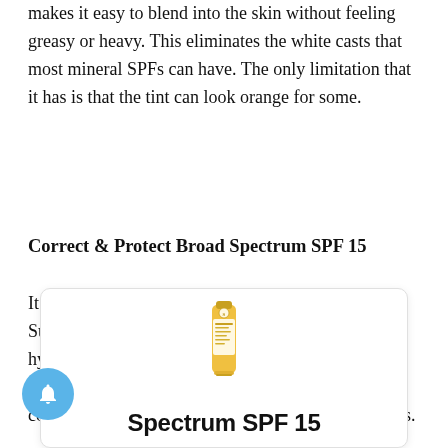makes it easy to blend into the skin without feeling greasy or heavy. This eliminates the white casts that most mineral SPFs can have. The only limitation that it has is that the tint can look orange for some.
Correct & Protect Broad Spectrum SPF 15
It has no white cast. It is the best for discoloration. Sun damage is one of the major reasons for hyperpigmentation, so finding a great SPF is crucial. This sunscreen prevents future discoloration. It also contains additional ingredients to blur existing marks.
[Figure (photo): Product image of a sunscreen tube with gold/yellow packaging, with the text 'Spectrum SPF 15' below it, displayed in a white card with rounded corners]